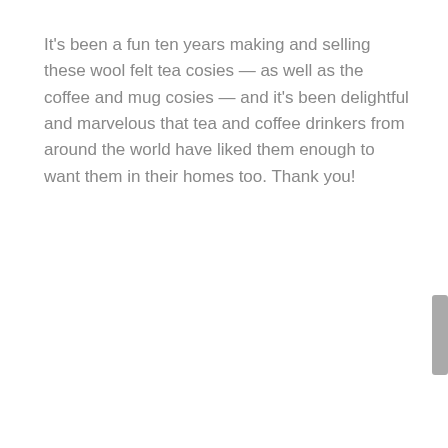It's been a fun ten years making and selling these wool felt tea cosies — as well as the coffee and mug cosies — and it's been delightful and marvelous that tea and coffee drinkers from around the world have liked them enough to want them in their homes too. Thank you!